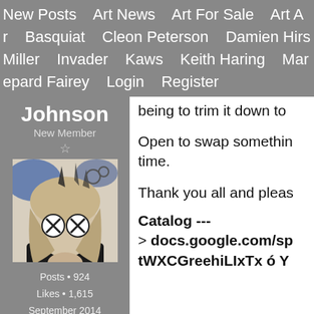New Posts   Art News   Art For Sale   Art A  r   Basquiat   Cleon Peterson   Damien Hirs  Miller   Invader   Kaws   Keith Haring   Mar  epard Fairey   Login   Register
Johnson
New Member
★
Posts • 924
Likes • 1,615
September 2014
[Figure (photo): Black and white artistic photo of a woman with KAWS-style cartoon eyes overlay, blue abstract elements in background]
being to trim it down to
Open to swap somethin time.
Thank you all and pleas
Catalog ---
> docs.google.com/sp tWXCGreehiLIxTx ó Y